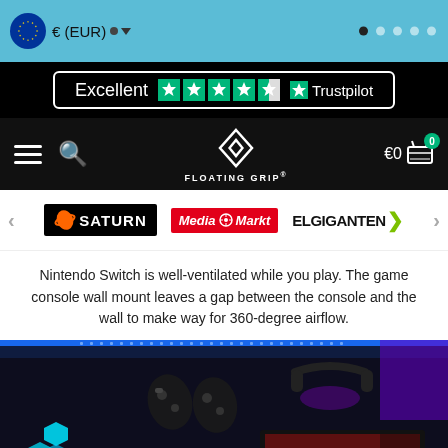€ (EUR)
[Figure (screenshot): Trustpilot rating banner showing 'Excellent' with 4.5 stars and Trustpilot logo on black background]
[Figure (logo): Floating Grip website navigation bar with hamburger menu, search icon, Floating Grip logo, and cart showing €0]
[Figure (logo): Partner logos: Saturn, Media Markt, Elgiganten]
Nintendo Switch is well-ventilated while you play. The game console wall mount leaves a gap between the console and the wall to make way for 360-degree airflow.
[Figure (photo): Gaming setup with blue LED lighting, controllers mounted on wall, headphones, gaming console, and monitor showing The Witcher game]